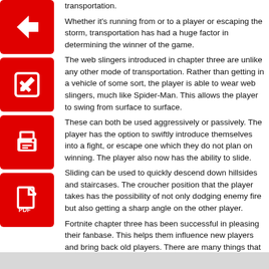transportation.
Whether it’s running from or to a player or escaping the storm, transportation has had a huge factor in determining the winner of the game.
The web slingers introduced in chapter three are unlike any other mode of transportation. Rather than getting in a vehicle of some sort, the player is able to wear web slingers, much like Spider-Man. This allows the player to swing from surface to surface.
These can both be used aggressively or passively. The player has the option to swiftly introduce themselves into a fight, or escape one which they do not plan on winning. The player also now has the ability to slide.
Sliding can be used to quickly descend down hillsides and staircases. The croucher position that the player takes has the possibility of not only dodging enemy fire but also getting a sharp angle on the other player.
Fortnite chapter three has been successful in pleasing their fanbase. This helps them influence new players and bring back old players. There are many things that are new to the game that were not covered, such as crown royales, the foundation, and the battle pass.